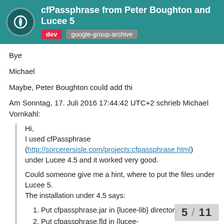cfPassphrase from Peter Boughton and Lucee 5
Bye
Michael
Maybe, Peter Boughton could add thi
Am Sonntag, 17. Juli 2016 17:44:42 UTC+2 schrieb Michael Vornkahl:
Hi,
I used cfPassphrase (http://sorcerersisle.com/projects:cfpassphrase.html) under Lucee 4.5 and it worked very good.

Could someone give me a hint, where to put the files under Lucee 5.
The installation under 4.5 says:
1. Put cfpassphrase.jar in {lucee-lib} directory.
2. Put cfpassphrase.fld in {lucee-server}/context/library/fld
5 / 11